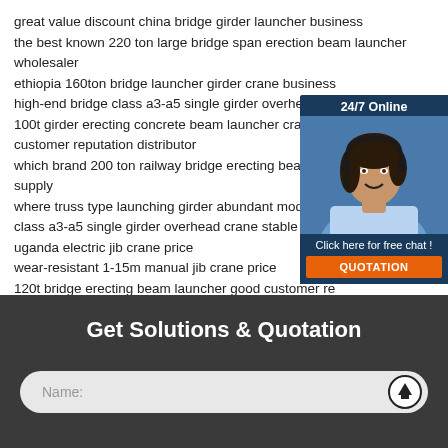great value discount china bridge girder launcher business
the best known 220 ton large bridge span erection beam launcher wholesaler
ethiopia 160ton bridge launcher girder crane business
high-end bridge class a3-a5 single girder overhead cra…
100t girder erecting concrete beam launcher crane su… customer reputation distributor
which brand 200 ton railway bridge erecting beam lau… supply
where truss type launching girder abundant models
class a3-a5 single girder overhead crane stable perfor…
uganda electric jib crane price
wear-resistant 1-15m manual jib crane price
120t bridge erecting beam launcher good customer re…
inexpensive 18-50m tyre wheel gantry crane manufactu…
[Figure (photo): 24/7 Online chat widget with a woman wearing a headset, dark blue background, and a 'Click here for free chat!' message with an orange QUOTATION button]
Get Solutions & Quotation
Name: